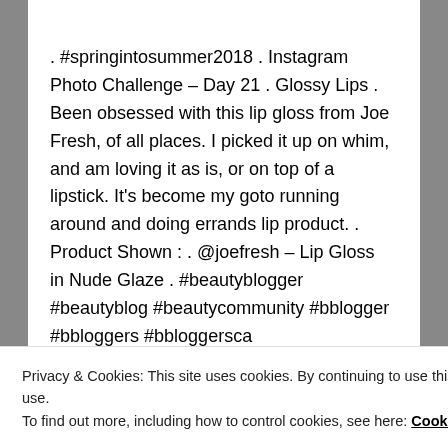. #springintosummer2018 . Instagram Photo Challenge – Day 21 . Glossy Lips . Been obsessed with this lip gloss from Joe Fresh, of all places. I picked it up on whim, and am loving it as is, or on top of a lipstick. It's become my goto running around and doing errands lip product. . Product Shown : . @joefresh – Lip Gloss in Nude Glaze . #beautyblogger #beautyblog #beautycommunity #bblogger #bbloggers #bbloggersca #canadianblogger #instablogger #instapic #blogger #photochallenge #makeupchallenge #beautychallenge #beautychallengemay #mayphotochallenge #makeup #lipgloss . . @supernovarrh @alwayscleia
Privacy & Cookies: This site uses cookies. By continuing to use this website, you agree to their use.
To find out more, including how to control cookies, see here: Cookie Policy
Close and accept